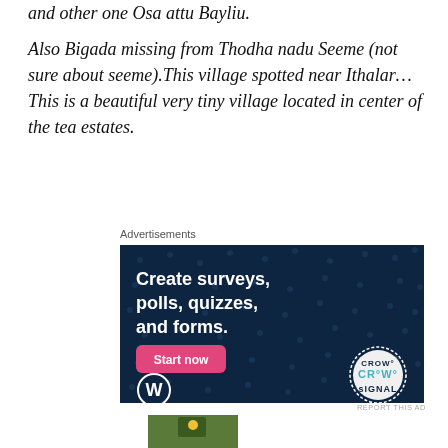and other one Osa attu Bayliu.
Also Bigada missing from Thodha nadu Seeme (not sure about seeme).This village spotted near Ithalar… This is a beautiful very tiny village located in center of the tea estates.
Advertisements
[Figure (screenshot): Dark navy blue advertisement banner for Crowdsignal. Text reads: 'Create surveys, polls, quizzes, and forms.' with a pink 'Start now' button, WordPress logo bottom left, and Crowdsignal logo circle bottom right.]
REPORT THIS AD
[Figure (photo): Partial thumbnail image at bottom of page.]